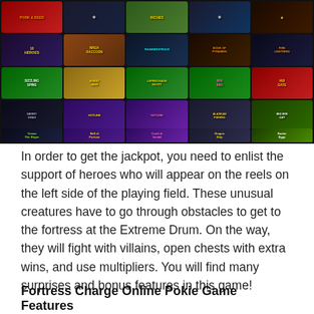[Figure (screenshot): Grid of online casino/pokie game thumbnails showing various slot games including Heroes, Sizzling Spins, Leprechaun Egypt, Wai Kiki, Hui Gate, Merry Xmas, Alaskan Fishing, Big Win Cat, and others arranged in a 5-column by 4-row grid on dark background.]
In order to get the jackpot, you need to enlist the support of heroes who will appear on the reels on the left side of the playing field. These unusual creatures have to go through obstacles to get to the fortress at the Extreme Drum. On the way, they will fight with villains, open chests with extra wins, and use multipliers. You will find many surprises and bonus features in this game!
Fortress Charge Online Pokie Game Features